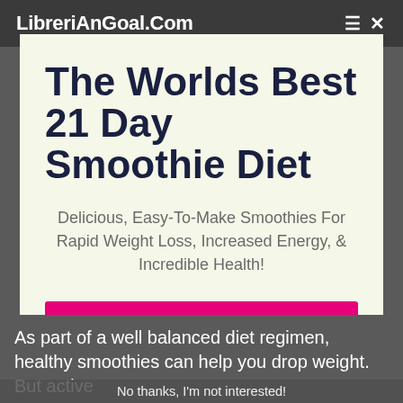LibreriAnGoal.Com
The Worlds Best 21 Day Smoothie Diet
Delicious, Easy-To-Make Smoothies For Rapid Weight Loss, Increased Energy, & Incredible Health!
LEARN MORE HERE 👉
As part of a well balanced diet regimen, healthy smoothies can help you drop weight. But active
No thanks, I'm not interested!